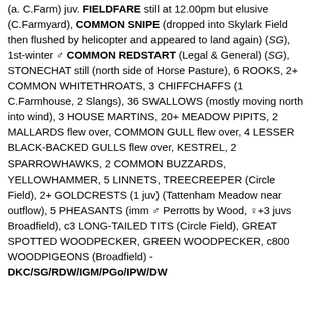(a. C.Farm) juv. FIELDFARE still at 12.00pm but elusive (C.Farmyard), COMMON SNIPE (dropped into Skylark Field then flushed by helicopter and appeared to land again) (SG), 1st-winter ♂ COMMON REDSTART (Legal & General) (SG), STONECHAT still (north side of Horse Pasture), 6 ROOKS, 2+ COMMON WHITETHROATS, 3 CHIFFCHAFFS (1 C.Farmhouse, 2 Slangs), 36 SWALLOWS (mostly moving north into wind), 3 HOUSE MARTINS, 20+ MEADOW PIPITS, 2 MALLARDS flew over, COMMON GULL flew over, 4 LESSER BLACK-BACKED GULLS flew over, KESTREL, 2 SPARROWHAWKS, 2 COMMON BUZZARDS, YELLOWHAMMER, 5 LINNETS, TREECREEPER (Circle Field), 2+ GOLDCRESTS (1 juv) (Tattenham Meadow near outflow), 5 PHEASANTS (imm ♂ Perrotts by Wood, ♀+3 juvs Broadfield), c3 LONG-TAILED TITS (Circle Field), GREAT SPOTTED WOODPECKER, GREEN WOODPECKER, c800 WOODPIGEONS (Broadfield) - DKC/SG/RDW/IGM/PGo/IPW/DW